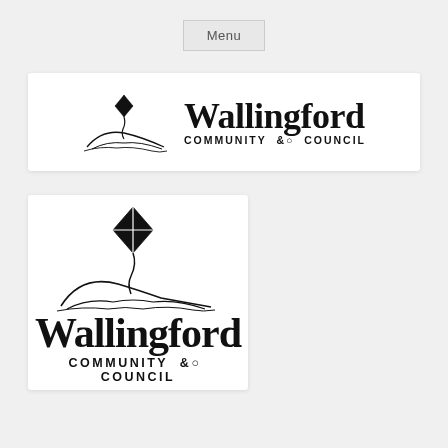[Figure (logo): Menu button - a rounded rectangle button labeled 'Menu']
[Figure (logo): Wallingford Community Council horizontal logo banner: kite and hill illustration on the left, 'Wallingford' in large serif font and 'COMMUNITY COUNCIL' in spaced sans-serif below, white background with shadow border]
[Figure (logo): Wallingford Community Council square logo: kite flying over hill illustration, 'Wallingford' in large serif font, 'COMMUNITY COUNCIL' in spaced sans-serif below, white background with shadow border]